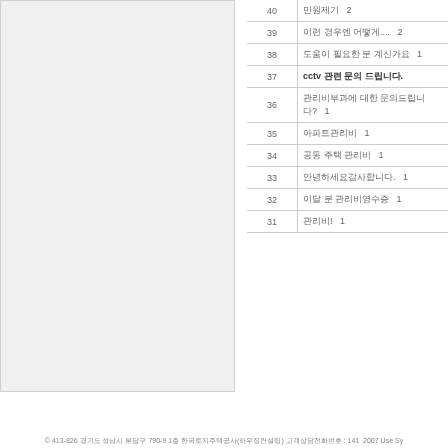[Figure (photo): Gray left panel, likely a sidebar image or placeholder]
| 번호 | 제목 |
| --- | --- |
| 40 | 민원제기   2 |
| 39 | 이런 경우엔 어떻게....   2 |
| 38 | 도움이 필요한 분 계신가요   1 |
| 37 | cctv 관련 문의 드립니다. |
| 36 | 관리비부과에 대한 문의드립니다?   1 |
| 35 | 아파트관리비   1 |
| 34 | 공동 주택 관리비   1 |
| 33 | 안녕하세요감사합니다.   1 |
| 32 | 이달 분 관리비영수증   1 |
| 31 | 관리비!   1 |
© 413-826 경기도 성남시 분당구 790-9 1층 한국토지주택공사(하우징컨설팅) 고객상담전화번호 : 141  2007 Use Sy